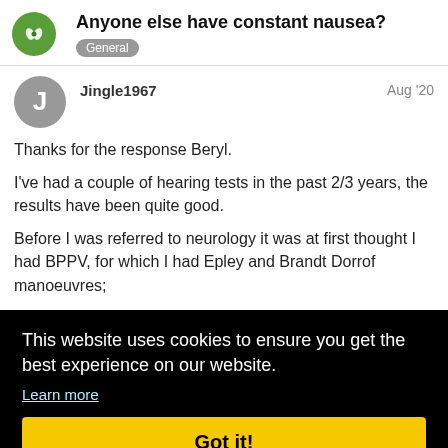Anyone else have constant nausea?
General
Jingle1967
Aug '20
Thanks for the response Beryl.
I've had a couple of hearing tests in the past 2/3 years, the results have been quite good.
Before I was referred to neurology it was at first thought I had BPPV, for which I had Epley and Brandt Dorrof manoeuvres;
This website uses cookies to ensure you get the best experience on our website.
Learn more
Got it!
Whilst awaiting the neurology referral my